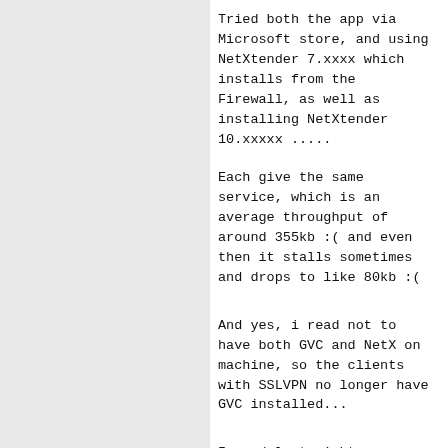Tried both the app via Microsoft store, and using NetXtender 7.xxxx which installs from the Firewall, as well as installing NetXtender 10.xxxxx .....
Each give the same service, which is an average throughput of around 355kb :( and even then it stalls sometimes and drops to like 80kb :(
And yes, i read not to have both GVC and NetX on machine, so the clients with SSLVPN no longer have GVC installed...
I read last night someone had tried setting up Bandwith Management and setting speeds to max, but still makes no difference...
After the reading and testing side and